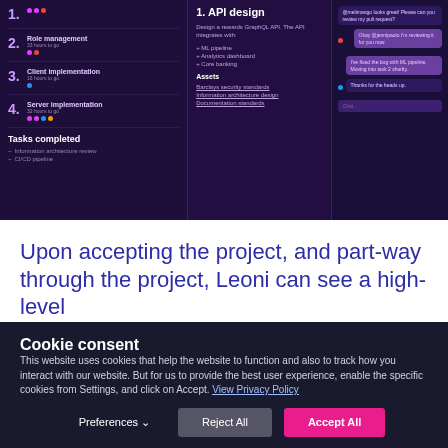[Figure (screenshot): App UI screenshot showing a dark purple project management interface with three panels: left panel showing numbered tasks (Role management, Client implementation, Server implementation, Tasks completed), middle panel showing API design details with assets list, and right panel showing a chat conversation.]
Upon accepting the project, and part-way through the project, Leoni can see a high-level
Cookie consent
This website uses cookies that help the website to function and also to track how you interact with our website. But for us to provide the best user experience, enable the specific cookies from Settings, and click on Accept. View Privacy Policy